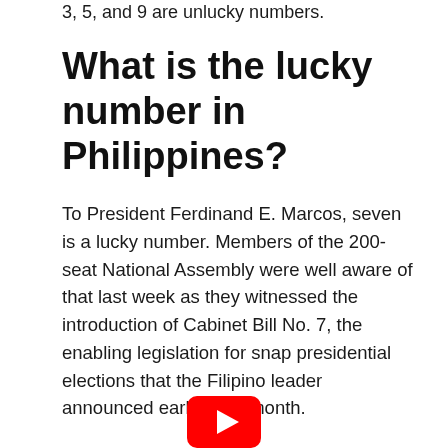3, 5, and 9 are unlucky numbers.
What is the lucky number in Philippines?
To President Ferdinand E. Marcos, seven is a lucky number. Members of the 200-seat National Assembly were well aware of that last week as they witnessed the introduction of Cabinet Bill No. 7, the enabling legislation for snap presidential elections that the Filipino leader announced earlier this month.
[Figure (logo): YouTube play button logo — red rounded rectangle with white triangle pointing right]